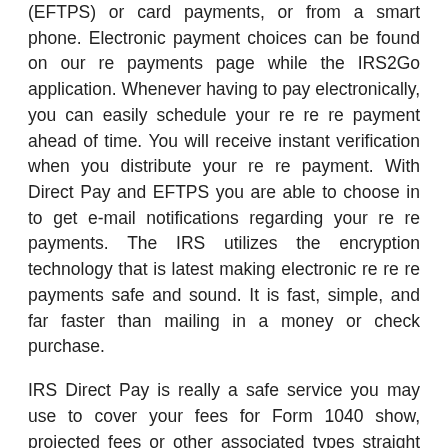(EFTPS) or card payments, or from a smart phone. Electronic payment choices can be found on our re payments page while the IRS2Go application. Whenever having to pay electronically, you can easily schedule your re re re payment ahead of time. You will receive instant verification when you distribute your re re payment. With Direct Pay and EFTPS you are able to choose in to get e-mail notifications regarding your re re payments. The IRS utilizes the encryption technology that is latest making electronic re re re payments safe and sound. It is fast, simple, and far faster than mailing in a money or check purchase.
IRS Direct Pay is really a safe service you may use to cover your fees for Form 1040 show, projected fees or other associated types straight from your own checking or checking account at no expense for you. Finish the five steps that are easy you will receive instant verification after you distribute your re payment. With Direct Pay, you need to use the » Look Up a repayment » function to view your re